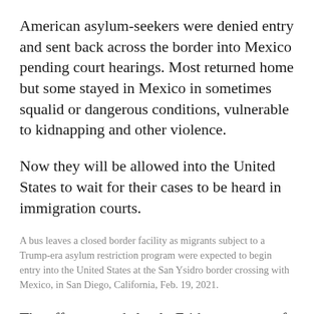American asylum-seekers were denied entry and sent back across the border into Mexico pending court hearings. Most returned home but some stayed in Mexico in sometimes squalid or dangerous conditions, vulnerable to kidnapping and other violence.
Now they will be allowed into the United States to wait for their cases to be heard in immigration courts.
A bus leaves a closed border facility as migrants subject to a Trump-era asylum restriction program were expected to begin entry into the United States at the San Ysidro border crossing with Mexico, in San Diego, California, Feb. 19, 2021.
The effort started slowly Friday at a port of entry in San Ysidro, California, where the 25 MPP asylum-